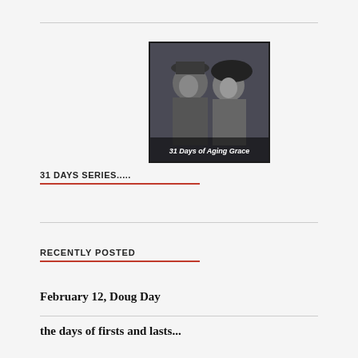[Figure (photo): Black and white vintage photograph of a man and woman together, with text overlay reading '31 DAYS OF AGING GRACE']
31 DAYS SERIES.....
RECENTLY POSTED
February 12, Doug Day
the days of firsts and lasts...